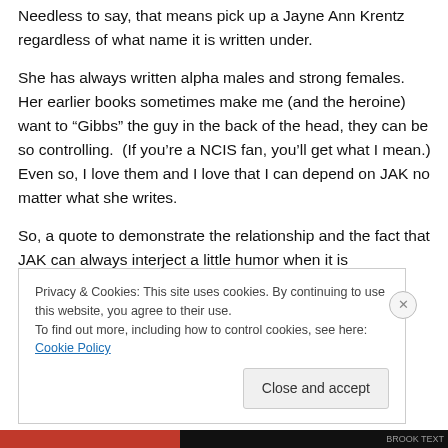Needless to say, that means pick up a Jayne Ann Krentz regardless of what name it is written under.
She has always written alpha males and strong females. Her earlier books sometimes make me (and the heroine) want to “Gibbs” the guy in the back of the head, they can be so controlling. (If you’re a NCIS fan, you’ll get what I mean.) Even so, I love them and I love that I can depend on JAK no matter what she writes.
So, a quote to demonstrate the relationship and the fact that JAK can always interject a little humor when it is
Privacy & Cookies: This site uses cookies. By continuing to use this website, you agree to their use.
To find out more, including how to control cookies, see here: Cookie Policy